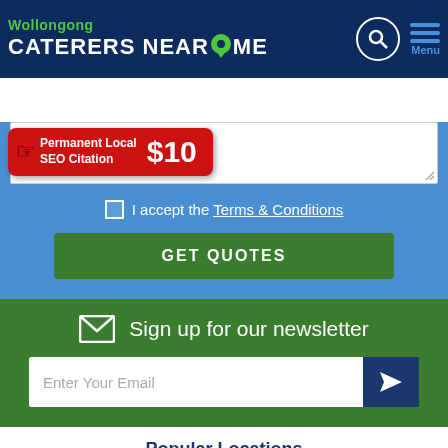Wollongong CATERERS NEAR ME
[Figure (screenshot): Ad banner: Permanent Local SEO Citation $10]
I accept the Terms & Conditions
GET QUOTES
Sign up for our newsletter
Enter Your Email
Popular Locations
Adelaide
Albury-Wodonga